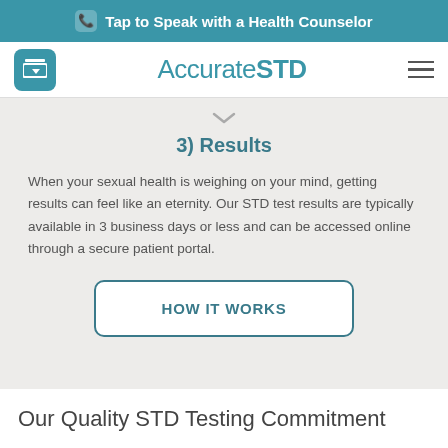Tap to Speak with a Health Counselor
AccurateSTD
3) Results
When your sexual health is weighing on your mind, getting results can feel like an eternity. Our STD test results are typically available in 3 business days or less and can be accessed online through a secure patient portal.
HOW IT WORKS
Our Quality STD Testing Commitment